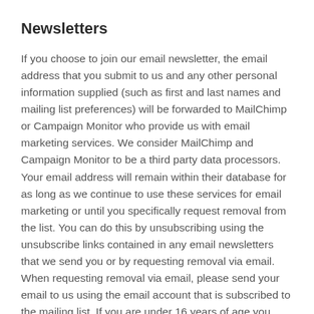Newsletters
If you choose to join our email newsletter, the email address that you submit to us and any other personal information supplied (such as first and last names and mailing list preferences) will be forwarded to MailChimp or Campaign Monitor who provide us with email marketing services. We consider MailChimp and Campaign Monitor to be a third party data processors. Your email address will remain within their database for as long as we continue to use these services for email marketing or until you specifically request removal from the list. You can do this by unsubscribing using the unsubscribe links contained in any email newsletters that we send you or by requesting removal via email. When requesting removal via email, please send your email to us using the email account that is subscribed to the mailing list. If you are under 16 years of age you MUST obtain parental consent before joining our email newsletter. While your email address remains on our